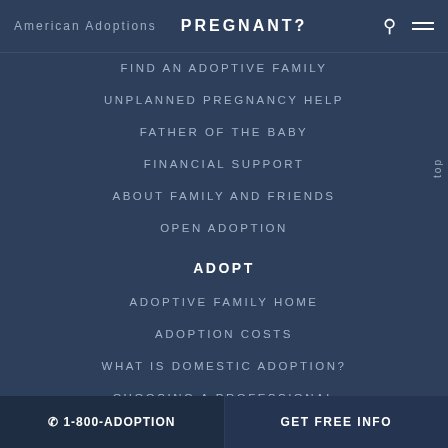American Adoptions  PREGNANT?
FIND AN ADOPTIVE FAMILY
UNPLANNED PREGNANCY HELP
FATHER OF THE BABY
FINANCIAL SUPPORT
ABOUT FAMILY AND FRIENDS
OPEN ADOPTION
ADOPT
ADOPTIVE FAMILY HOME
ADOPTION COSTS
WHAT IS DOMESTIC ADOPTION?
CHOOSING A PROFESSIONAL
ADOPTION HOME STUDY
☎ 1-800-ADOPTION    GET FREE INFO